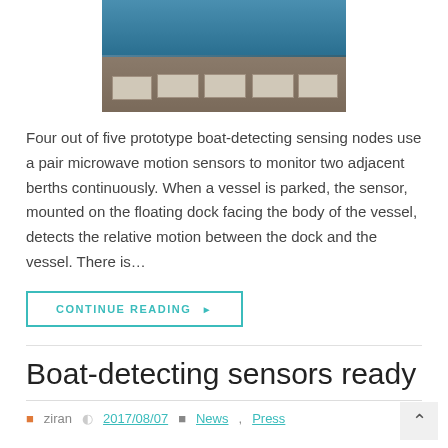[Figure (photo): Photo of prototype boat-detecting sensing nodes arranged on a floating dock, with wires and sensor boxes visible, water in background]
Four out of five prototype boat-detecting sensing nodes use a pair microwave motion sensors to monitor two adjacent berths continuously. When a vessel is parked, the sensor, mounted on the floating dock facing the body of the vessel, detects the relative motion between the dock and the vessel. There is…
CONTINUE READING ▶
Boat-detecting sensors ready
ziran   2017/08/07   News, Press